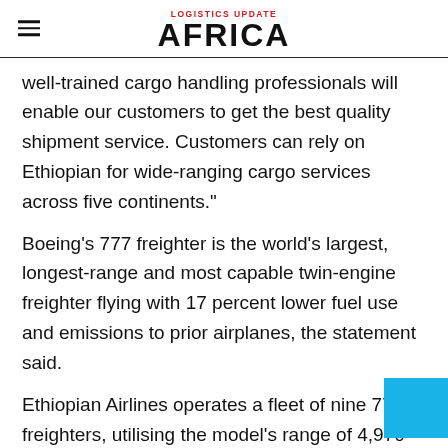LOGISTICS UPDATE AFRICA
well-trained cargo handling professionals will enable our customers to get the best quality shipment service. Customers can rely on Ethiopian for wide-ranging cargo services across five continents."
Boeing's 777 freighter is the world's largest, longest-range and most capable twin-engine freighter flying with 17 percent lower fuel use and emissions to prior airplanes, the statement said.
Ethiopian Airlines operates a fleet of nine 777 freighters, utilising the model's range of 4,970 nautical miles (9,200 km) and maximum structural payload of 107 tonnes (235,900 lb) to connect Africa with 66 dedicated cargo